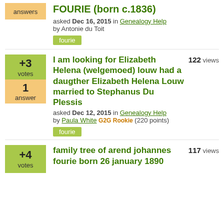answers
FOURIE (born c.1836)
asked Dec 16, 2015 in Genealogy Help by Antonie du Toit
fourie
+3 votes, 1 answer, 122 views
I am looking for Elizabeth Helena (welgemoed) louw had a daugther Elizabeth Helena Louw married to Stephanus Du Plessis
asked Dec 12, 2015 in Genealogy Help by Paula White G2G Rookie (220 points)
fourie
+4 votes
family tree of arend johannes fourie born 26 january 1890